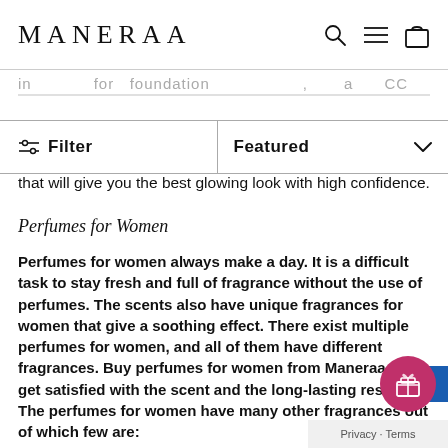MANERAA
that will give you the best glowing look with high confidence.
Perfumes for Women
Perfumes for women always make a day. It is a difficult task to stay fresh and full of fragrance without the use of perfumes. The scents also have unique fragrances for women that give a soothing effect. There exist multiple perfumes for women, and all of them have different fragrances. Buy perfumes for women from Maneraa to get satisfied with the scent and the long-lasting results. The perfumes for women have many other fragrances out of which few are:
Fresh
This fragrance comprises of water, citrus, and green notes.